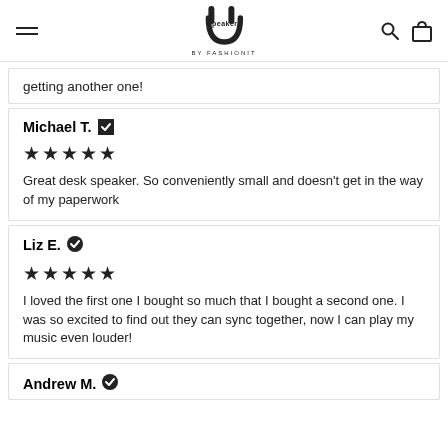U Speakers by Fashionit
getting another one!
Michael T. ✓
★★★★★
Great desk speaker. So conveniently small and doesn't get in the way of my paperwork
Liz E. ✓
★★★★★
I loved the first one I bought so much that I bought a second one. I was so excited to find out they can sync together, now I can play my music even louder!
Andrew M. ✓